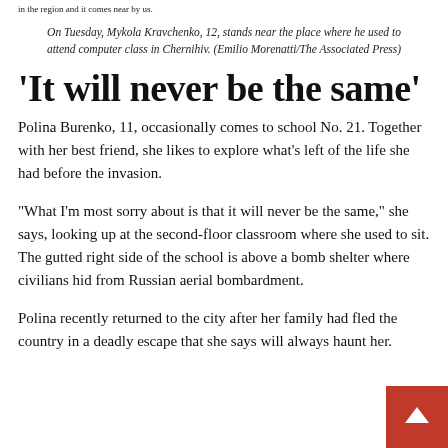in the region and it comes near by us.
On Tuesday, Mykola Kravchenko, 12, stands near the place where he used to attend computer class in Chernihiv. (Emilio Morenatti/The Associated Press)
‘It will never be the same’
Polina Burenko, 11, occasionally comes to school No. 21. Together with her best friend, she likes to explore what’s left of the life she had before the invasion.
“What I’m most sorry about is that it will never be the same,” she says, looking up at the second-floor classroom where she used to sit. The gutted right side of the school is above a bomb shelter where civilians hid from Russian aerial bombardment.
Polina recently returned to the city after her family had fled the country in a deadly escape that she says will always haunt her.